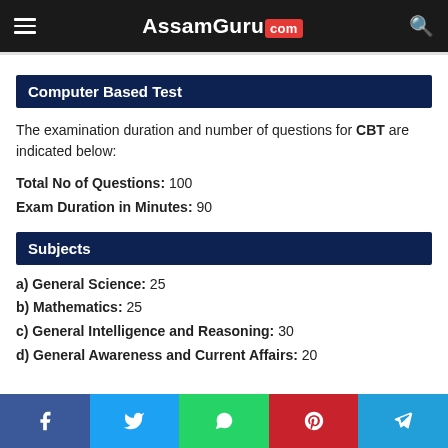AssamGuru.com
Computer Based Test
The examination duration and number of questions for CBT are indicated below:
Total No of Questions: 100
Exam Duration in Minutes: 90
Subjects
a) General Science: 25
b) Mathematics: 25
c) General Intelligence and Reasoning: 30
d) General Awareness and Current Affairs: 20
Share buttons: Facebook, Twitter, WhatsApp, Pinterest, Telegram